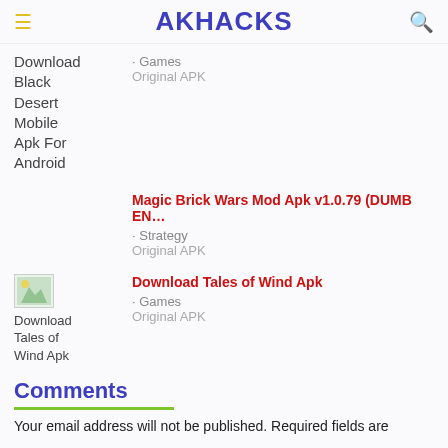AKHACKS
Download Black Desert Mobile Apk For Android · Games Original APK
Magic Brick Wars Mod Apk v1.0.79 (DUMB EN... · Strategy Original APK
[Figure (photo): Small thumbnail image for Download Tales of Wind Apk]
Download Tales of Wind Apk · Games Original APK
Comments
Your email address will not be published. Required fields are